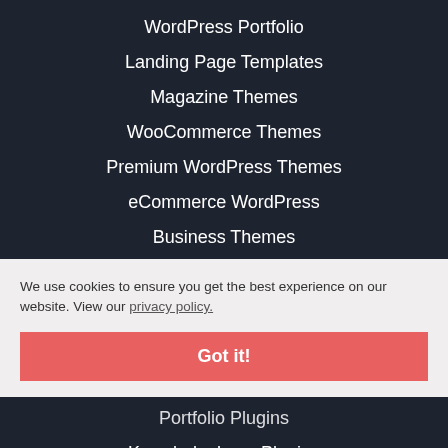WordPress Portfolio
Landing Page Templates
Magazine Themes
WooCommerce Themes
Premium WordPress Themes
eCommerce WordPress
Business Themes
We use cookies to ensure you get the best experience on our website. View our privacy policy.
Got it!
Portfolio Plugins
Knowledgebase Plugins
Slideshows & Galleries
Form Plugins
WooCommerce Plugins